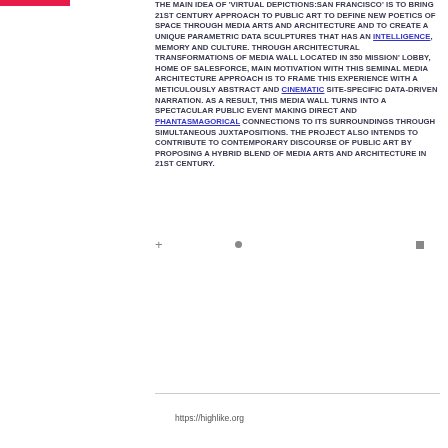THE MAIN IDEA OF 'VIRTUAL DEPICTIONS:SAN FRANCISCO' IS TO BRING 21ST CENTURY APPROACH TO PUBLIC ART TO DEFINE NEW POETICS OF SPACE THROUGH MEDIA ARTS AND ARCHITECTURE AND TO CREATE A UNIQUE PARAMETRIC DATA SCULPTURES THAT HAS AN INTELLIGENCE, MEMORY AND CULTURE. THROUGH ARCHITECTURAL TRANSFORMATIONS OF MEDIA WALL LOCATED IN 350 MISSION' LOBBY, HOME OF SALESFORCE, MAIN MOTIVATION WITH THIS SEMINAL MEDIA ARCHITECTURE APPROACH IS TO FRAME THIS EXPERIENCE WITH A METICULOUSLY ABSTRACT AND CINEMATIC SITE-SPECIFIC DATA-DRIVEN NARRATION. AS A RESULT, THIS MEDIA WALL TURNS INTO A SPECTACULAR PUBLIC EVENT MAKING DIRECT AND PHANTASMAGORICAL CONNECTIONS TO ITS SURROUNDINGS THROUGH SIMULTANEOUS JUXTAPOSITIONS. THE PROJECT ALSO INTENDS TO CONTRIBUTE TO CONTEMPORARY DISCOURSE OF PUBLIC ART BY PROPOSING A HYBRID BLEND OF MEDIA ARTS AND ARCHITECTURE IN 21ST CENTURY.
https://highlike.org